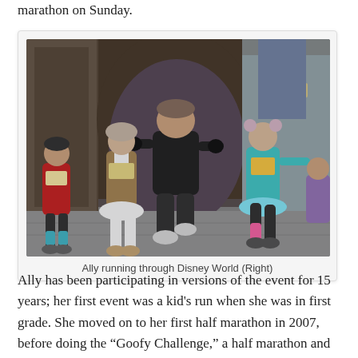marathon on Sunday.
[Figure (photo): Runners in costumes running through a castle archway at Disney World. A large man in black runs in the center foreground; other runners wear colorful costumes including tutus and themed outfits. Caption reads: Ally running through Disney World (Right)]
Ally running through Disney World (Right)
Ally has been participating in versions of the event for 15 years; her first event was a kid's run when she was in first grade. She moved on to her first half marathon in 2007, before doing the “Goofy Challenge,” a half marathon and marathon duo, in 2014.